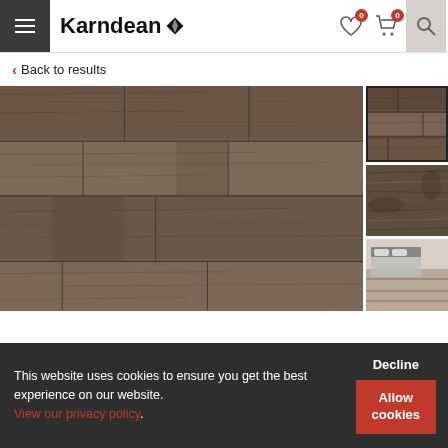Karndean
Back to results
[Figure (photo): Karndean wood-effect luxury vinyl tile flooring shown in a large main view with dark brown wood grain texture, and two thumbnail images on the right showing close-up detail and a room scene.]
This website uses cookies to ensure you get the best experience on our website. View our privacy policy. Decline  Allow cookies